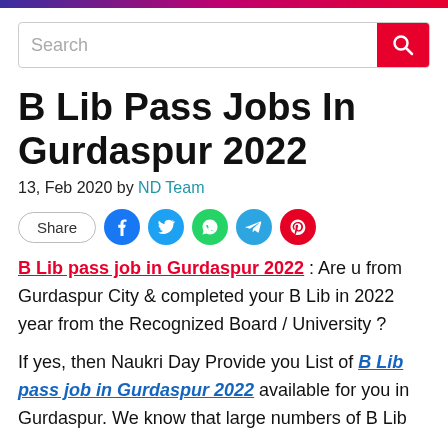B Lib Pass Jobs In Gurdaspur 2022
13, Feb 2020 by ND Team
[Figure (other): Social share buttons: Share, Facebook, Twitter, WhatsApp, Telegram, Pinterest]
B Lib pass job in Gurdaspur 2022 : Are u from Gurdaspur City & completed your B Lib in 2022 year from the Recognized Board / University ?
If yes, then Naukri Day Provide you List of B Lib pass job in Gurdaspur 2022 available for you in Gurdaspur. We know that large numbers of B Lib